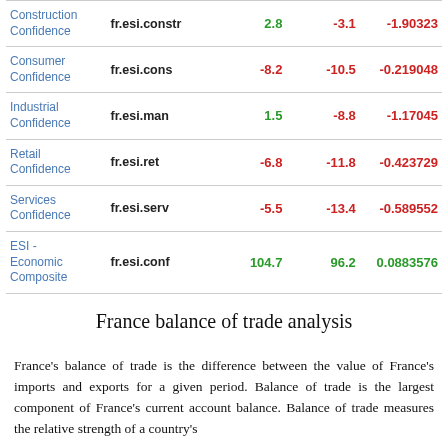|  |  |  |  |  |
| --- | --- | --- | --- | --- |
| Construction Confidence | fr.esi.constr | 2.8 | -3.1 | -1.90323 |
| Consumer Confidence | fr.esi.cons | -8.2 | -10.5 | -0.219048 |
| Industrial Confidence | fr.esi.man | 1.5 | -8.8 | -1.17045 |
| Retail Confidence | fr.esi.ret | -6.8 | -11.8 | -0.423729 |
| Services Confidence | fr.esi.serv | -5.5 | -13.4 | -0.589552 |
| ESI - Economic Composite | fr.esi.conf | 104.7 | 96.2 | 0.0883576 |
France balance of trade analysis
France’s balance of trade is the difference between the value of France’s imports and exports for a given period. Balance of trade is the largest component of France’s current account balance. Balance of trade measures the relative strength of a country’s